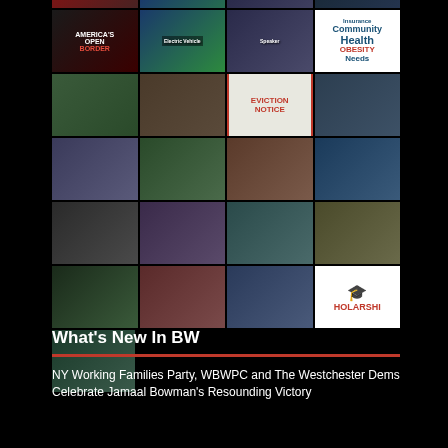[Figure (photo): Grid of 21 news thumbnail photos arranged in rows of 4, with the last row having 1 photo. Thumbnails include images related to America's Open, community health word cloud, eviction notice, news anchors, basketball games, scholarship, and various news stories.]
What's New In BW
NY Working Families Party, WBWPC and The Westchester Dems Celebrate Jamaal Bowman's Resounding Victory